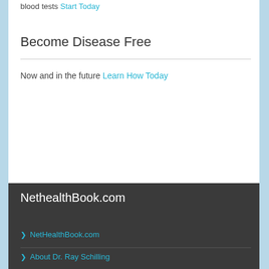blood tests Start Today
Become Disease Free
Now and in the future Learn How Today
NethealthBook.com
As a physician, Medical Adviser and Author Dr Ray Schilling has created Net Health Book for your benefit. Please also visit Dr. Rays Blog at AskDrRay.com
All books are posted on Amazon.com
NetHealthBook.com
About Dr. Ray Schilling